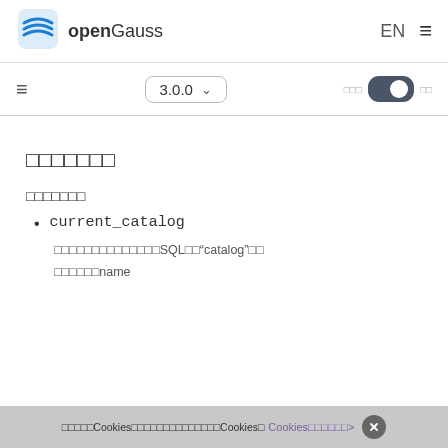openGauss EN
3.0.0
□□□□□□□
□□□□□□□
current_catalog
□□□□□□□□□□□□□□SQL□□"catalog"□□
□□□□□□name
□□□□□Cookies□□□□□□□□□□□□□□Cookies□ Cookies□□□□□□>